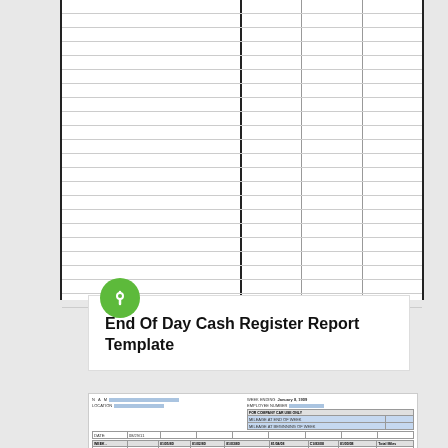[Figure (other): Partial view of a blank ledger/spreadsheet with vertical and horizontal lines forming a grid with multiple columns]
[Figure (illustration): Green circular pin icon]
End Of Day Cash Register Report Template
[Figure (table-as-image): Thumbnail of an expense/mileage report template with fields: WEEK ENDING January 8, 1909, EMPLOYEE NUMBER, LOCATION, DATE 08/29/11, columns for days of week and totals, EXPENSE ITEM rows]